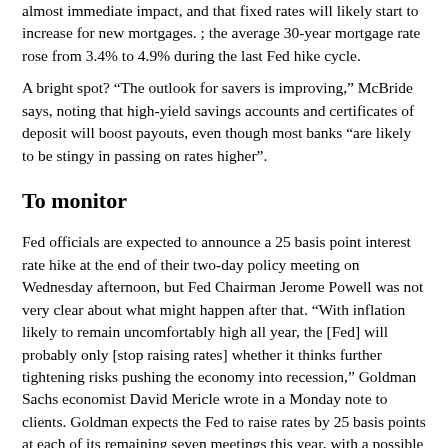almost immediate impact, and that fixed rates will likely start to increase for new mortgages. ; the average 30-year mortgage rate rose from 3.4% to 4.9% during the last Fed hike cycle.
A bright spot? “The outlook for savers is improving,” McBride says, noting that high-yield savings accounts and certificates of deposit will boost payouts, even though most banks “are likely to be stingy in passing on rates higher”.
To monitor
Fed officials are expected to announce a 25 basis point interest rate hike at the end of their two-day policy meeting on Wednesday afternoon, but Fed Chairman Jerome Powell was not very clear about what might happen after that. “With inflation likely to remain uncomfortably high all year, the [Fed] will probably only [stop raising rates] whether it thinks further tightening risks pushing the economy into recession,” Goldman Sachs economist David Mericle wrote in a Monday note to clients. Goldman expects the Fed to raise rates by 25 basis points at each of its remaining seven meetings this year, with a possible one-basis point hike if downside economic risks stemming from Russia’s invasion of Ukraine diminish. .
Key Context